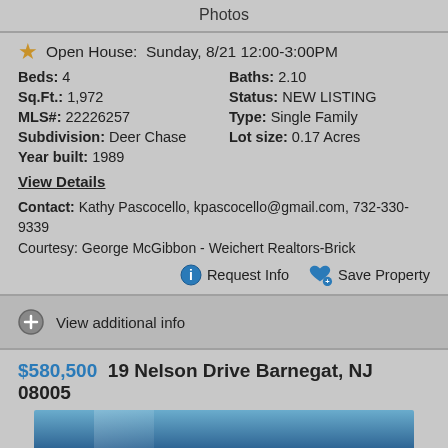Photos
Open House: Sunday, 8/21 12:00-3:00PM
Beds: 4   Baths: 2.10
Sq.Ft.: 1,972   Status: NEW LISTING
MLS#: 22226257   Type: Single Family
Subdivision: Deer Chase   Lot size: 0.17 Acres
Year built: 1989
View Details
Contact: Kathy Pascocello, kpascocello@gmail.com, 732-330-9339
Courtesy: George McGibbon - Weichert Realtors-Brick
Request Info   Save Property
View additional info
$580,500  19 Nelson Drive Barnegat, NJ 08005
[Figure (photo): House exterior photo, partially visible at bottom of page]